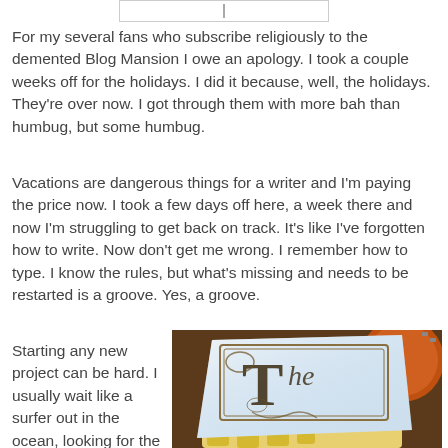[Figure (other): Text input bar with cursor]
For my several fans who subscribe religiously to the demented Blog Mansion I owe an apology. I took a couple weeks off for the holidays. I did it because, well, the holidays. They're over now. I got through them with more bah than humbug, but some humbug.
Vacations are dangerous things for a writer and I'm paying the price now. I took a few days off here, a week there and now I'm struggling to get back on track. It's like I've forgotten how to write. Now don't get me wrong. I remember how to type. I know the rules, but what's missing and needs to be restarted is a groove. Yes, a groove.
Starting any new project can be hard. I usually wait like a surfer out in the ocean, looking for the right wave to start me out.
[Figure (illustration): Illustration of a hand holding a paper or book with ornate letter 'The' written on it, with a guitar in the background]